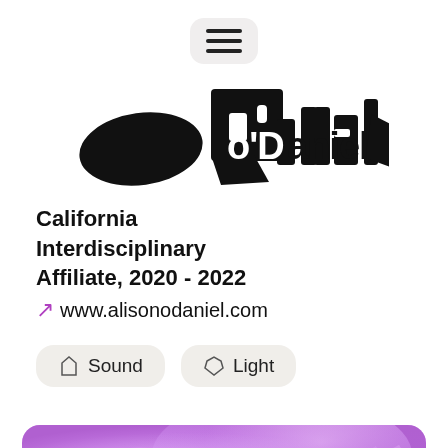[Figure (other): Hamburger menu button icon with three horizontal lines on a light gray rounded rectangle background]
[Figure (logo): Stylized black typographic logo reading something like 'no'daniel' or similar, with large abstract black letterforms]
California Interdisciplinary Affiliate, 2020 - 2022
↗ www.alisonodaniel.com
[Figure (other): Two rounded rectangle tag buttons: 'Sound' with a pentagon/house shape icon, and 'Light' with a heart/gem shape icon]
[Figure (photo): Bottom portion of a purple/lavender abstract image, possibly a photo with pink-purple tones, cropped at the bottom of the page]